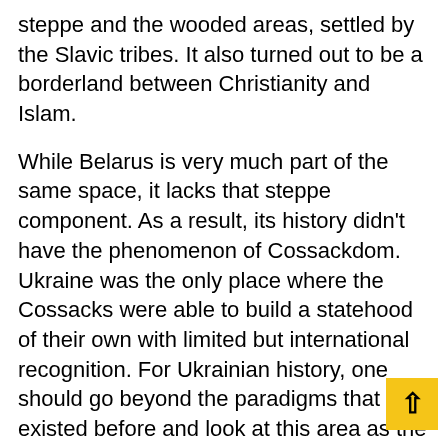steppe and the wooded areas, settled by the Slavic tribes. It also turned out to be a borderland between Christianity and Islam.
While Belarus is very much part of the same space, it lacks that steppe component. As a result, its history didn't have the phenomenon of Cossackdom. Ukraine was the only place where the Cossacks were able to build a statehood of their own with limited but international recognition. For Ukrainian history, one should go beyond the paradigms that existed before and look at this area as the meeting place of different peoples, civilisations, cultures, languages.